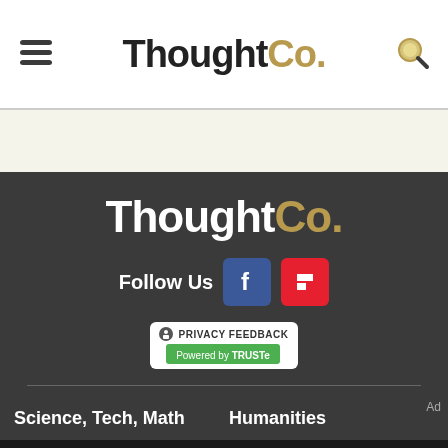ThoughtCo.
[Figure (logo): ThoughtCo. footer logo on dark background]
Follow Us
[Figure (infographic): Privacy Feedback badge powered by TRUSTe]
Science, Tech, Math   Humanities
[Figure (logo): Dotdash Meredith ad banner - We help people find answers, solve problems and get inspired.]